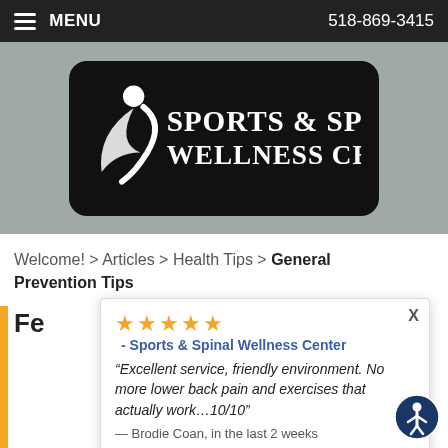MENU  518-869-3415
[Figure (logo): Sports & Spinal Wellness Center logo — white text and figure icon on black rounded rectangle background]
Welcome! > Articles > Health Tips > General Prevention Tips
Fe...
★★★★★ - Sports & Spinal Wellness Center
"Excellent service, friendly environment. No more lower back pain and exercises that actually work…10/10"
— Brodie Coan, in the last 2 weeks
⚡ by Review Wave